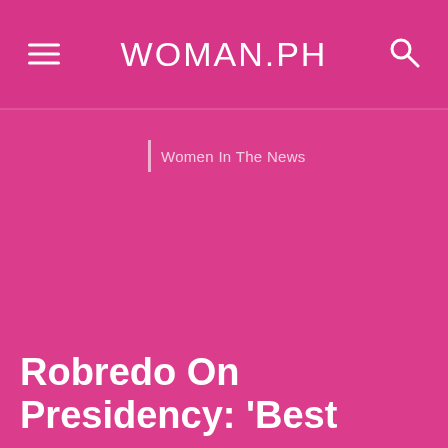WOMAN.PH
Women In The News
Robredo On Presidency: 'Best